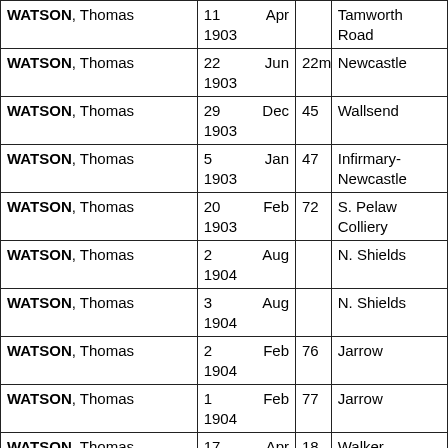| Name | Date | Age | Place |
| --- | --- | --- | --- |
| WATSON, Thomas | 11 Apr 1903 |  | Tamworth Road |
| WATSON, Thomas | 22 Jun 1903 | 22m | Newcastle |
| WATSON, Thomas | 29 Dec 1903 | 45 | Wallsend |
| WATSON, Thomas | 5 Jan 1903 | 47 | Infirmary-Newcastle |
| WATSON, Thomas | 20 Feb 1903 | 72 | S. Pelaw Colliery |
| WATSON, Thomas | 2 Aug 1904 |  | N. Shields |
| WATSON, Thomas | 3 Aug 1904 |  | N. Shields |
| WATSON, Thomas | 2 Feb 1904 | 76 | Jarrow |
| WATSON, Thomas | 1 Feb 1904 | 77 | Jarrow |
| WATSON, Thomas | 17 Apr 1905 | 18 | Walker Infirmary |
| WATSON, Thomas | 18 Aug | 75 | At Polton |